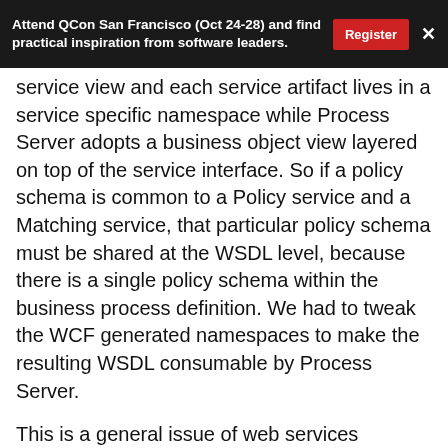Attend QCon San Francisco (Oct 24-28) and find practical inspiration from software leaders.  Register  ×
service view and each service artifact lives in a service specific namespace while Process Server adopts a business object view layered on top of the service interface. So if a policy schema is common to a Policy service and a Matching service, that particular policy schema must be shared at the WSDL level, because there is a single policy schema within the business process definition. We had to tweak the WCF generated namespaces to make the resulting WSDL consumable by Process Server.
This is a general issue of web services technologies since there are no specific "business object model" which represent resources exchanged as part of service invocations. Each vendor is free to adopt schemes that better represent its product line or